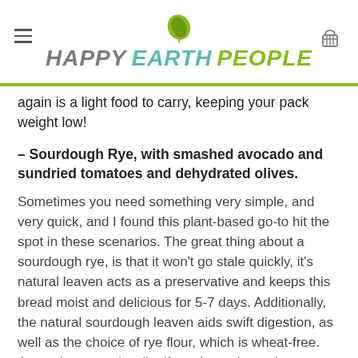HAPPY EARTH PEOPLE
again is a light food to carry, keeping your pack weight low!
– Sourdough Rye, with smashed avocado and sundried tomatoes and dehydrated olives.
Sometimes you need something very simple, and very quick, and I found this plant-based go-to hit the spot in these scenarios. The great thing about a sourdough rye, is that it won't go stale quickly, it's natural leaven acts as a preservative and keeps this bread moist and delicious for 5-7 days. Additionally, the natural sourdough leaven aids swift digestion, as well as the choice of rye flour, which is wheat-free. Avocadoes travel well... if you keep them above heavy items in your pack! For me, an avocado is a precious as gold in this